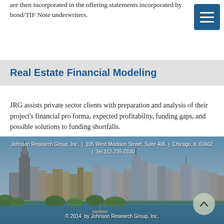are then incorporated in the offering statements incorporated by bond/TIF Note underwriters.
Real Estate Financial Modeling
JRG assists private sector clients with preparation and analysis of their project's financial pro forma, expected profitability, funding gaps, and possible solutions to funding shortfalls.
[Figure (photo): Chicago city skyline photograph with footer overlay text: Johnson Research Group, Inc. | 105 West Madison Street, Suite 406 | Chicago, IL 60602 | Tel 312-235-0130, and copyright: © 2014 by Johnson Research Group, Inc.]
Johnson Research Group, Inc. | 105 West Madison Street, Suite 406 | Chicago, IL 60602 | Tel 312-235-0130 | © 2014 by Johnson Research Group, Inc.